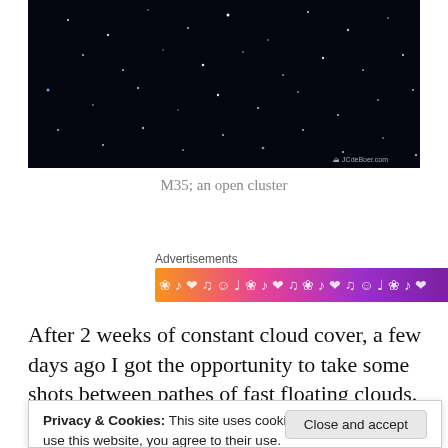[Figure (photo): Night sky photograph showing stars against a dark black background, with a watermark 'JCdeBoer.com' in the bottom right corner.]
M35; an open cluster
Advertisements
[Figure (other): Colorful advertisement banner with gradient from orange to purple with decorative white musical and heart icons.]
After 2 weeks of constant cloud cover, a few days ago I got the opportunity to take some shots between pathes of fast floating clouds. The allmost full moon gave my photos a small gradient
Privacy & Cookies: This site uses cookies. By continuing to use this website, you agree to their use.
To find out more, including how to control cookies, see here: Cookie Policy